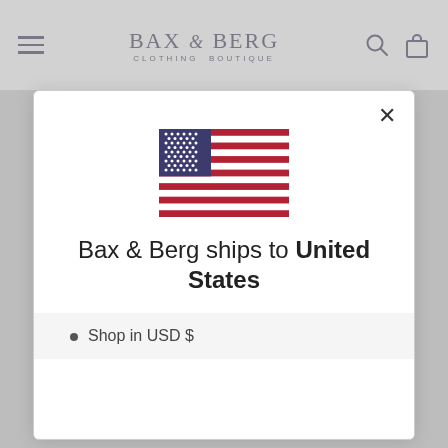BAX & BERG CLOTHING BOUTIQUE
[Figure (illustration): US flag icon centered in modal dialog]
Bax & Berg ships to United States
Shop in USD $